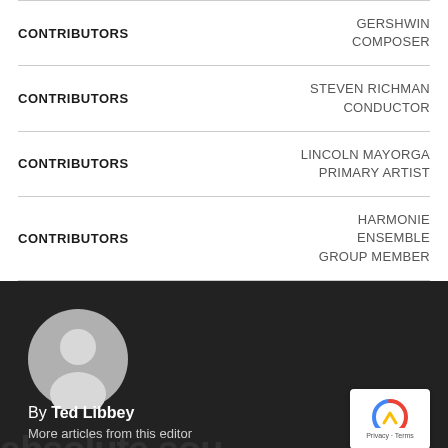CONTRIBUTORS — GERSHWIN COMPOSER
CONTRIBUTORS — STEVEN RICHMAN CONDUCTOR
CONTRIBUTORS — LINCOLN MAYORGA PRIMARY ARTIST
CONTRIBUTORS — HARMONIE ENSEMBLE GROUP MEMBER
[Figure (illustration): Dark background section with a grey circular avatar placeholder icon, watermark text in background, reCAPTCHA badge in bottom right corner]
By Ted Libbey
More articles from this editor